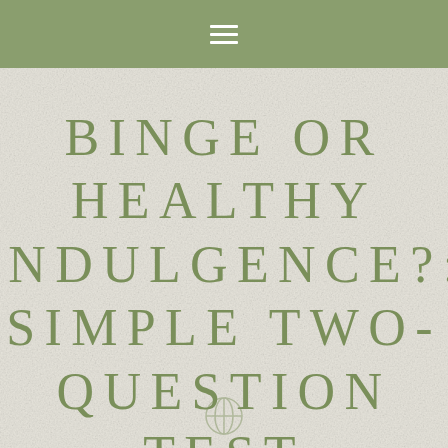☰
BINGE OR HEALTHY INDULGENCE?: SIMPLE TWO-QUESTION TEST